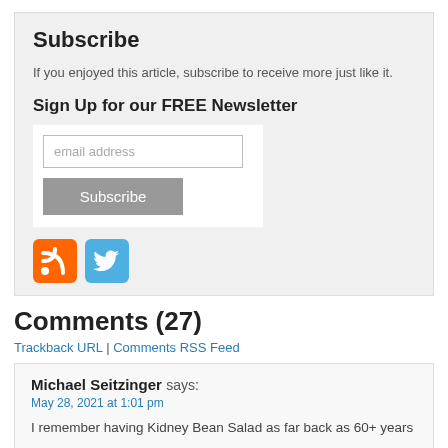Subscribe
If you enjoyed this article, subscribe to receive more just like it.
Sign Up for our FREE Newsletter
[Figure (screenshot): Email subscription form with text input field labeled 'email address' and a gray 'Subscribe' button]
[Figure (infographic): RSS feed icon (orange) and Twitter icon (blue)]
Comments (27)
Trackback URL | Comments RSS Feed
Michael Seitzinger says:
May 28, 2021 at 1:01 pm

I remember having Kidney Bean Salad as far back as 60+ years